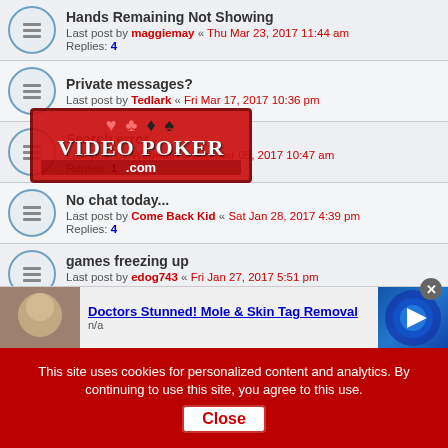Hands Remaining Not Showing — Last post by maggiemay « Thu Mar 23, 2017 11:44 am — Replies: 4
Private messages? — Last post by Tedlark « Fri Mar 17, 2017 10:36 pm
Search error — Last post by Webman « Sun Mar 05, 2017 10:47 am — Replies: 1
No chat today... — Last post by Come Back Kid « Sat Jan 28, 2017 4:39 pm — Replies: 4
games freezing up — Last post by edog743 « Fri Jan 27, 2017 5:51 pm — Replies: 3
Game Freezes Up Constantly — Last post by Kap L « Sat Jan 21, 2017 12:01 am — Replies: 4
[Figure (logo): Video Poker .com watermark logo with card suits]
[Figure (photo): Advertisement banner: Doctors Stunned! Mole & Skin Tag Removal]
This site uses cookies for personalized content and analytics. By continuing to use this site, you agree to this use. Close